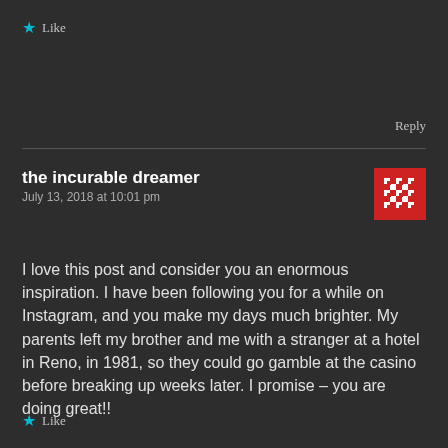★ Like
Reply
the incurable dreamer
July 13, 2018 at 10:01 pm
[Figure (illustration): Red and white decorative geometric/floral pixel avatar icon]
I love this post and consider you an enormous inspiration. I have been following you for a while on Instagram, and you make my days much brighter. My parents left my brother and me with a stranger at a hotel in Reno, in 1981, so they could go gamble at the casino before breaking up weeks later. I promise – you are doing great!!
★ Like